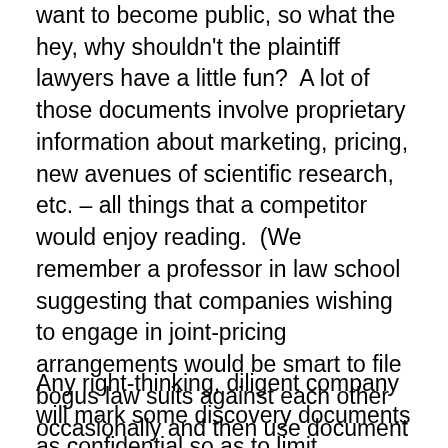want to become public, so what the hey, why shouldn't the plaintiff lawyers have a little fun?  A lot of those documents involve proprietary information about marketing, pricing, new avenues of scientific research, etc. – all things that a competitor would enjoy reading.  (We remember a professor in law school suggesting that companies wishing to engage in joint-pricing arrangements would be smart to file bogus law suits against each other occasionally and then use document discovery as a way of learning, and then coordinating, pricing strategies.  Yes, our law school had as many cynics as scholars.)
Any right-thinking, diligent company will mark some discovery documents as confidential so as to limit dissemination. But those judgments come at a cost.